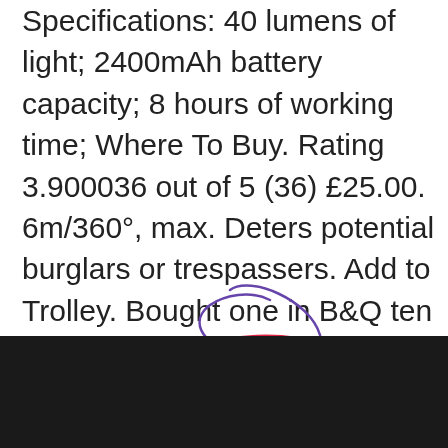Specifications: 40 lumens of light; 2400mAh battery capacity; 8 hours of working time; Where To Buy. Rating 3.900036 out of 5 (36) £25.00. 6m/360°, max. Deters potential burglars or trespassers. Add to Trolley. Bought one in B&Q ten years ago. If you have already placed a Click & Collect order and you haven't yet collected it, please bear with us whilst we work through the changes. -/- - Call 24/7 on: 03330 112 112 Call 24/7: 03330 112 112 Shop by Product Code Need Help. Pay your way. Light Bulbs. Browse store. Smartwares Solar LED Wall Light with Motion Sensor. PIR Security Lights | Security Lights | Screwfix.com. By Relevance I will illuminate the home of